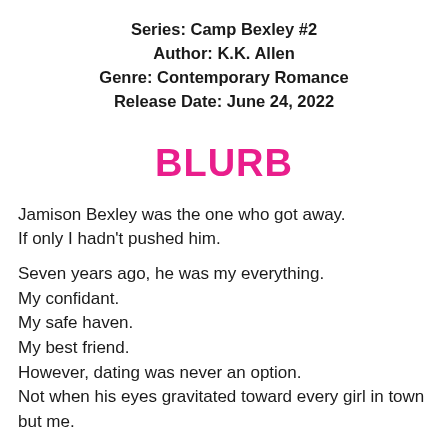Series: Camp Bexley #2
Author: K.K. Allen
Genre: Contemporary Romance
Release Date: June 24, 2022
BLURB
Jamison Bexley was the one who got away.
If only I hadn't pushed him.

Seven years ago, he was my everything.
My confidant.
My safe haven.
My best friend.
However, dating was never an option.
Not when his eyes gravitated toward every girl in town but me.